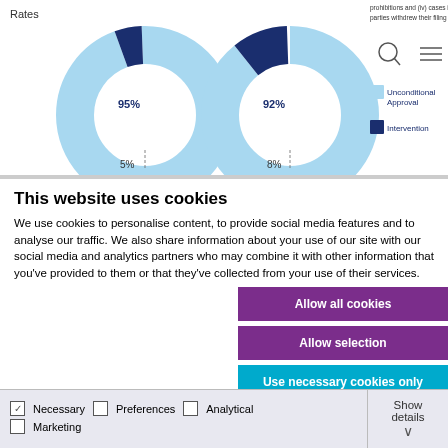[Figure (donut-chart): Two donut charts showing 95%/5% and 92%/8% splits, with legend for Unconditional Approval and Intervention]
This website uses cookies
We use cookies to personalise content, to provide social media features and to analyse our traffic. We also share information about your use of our site with our social media and analytics partners who may combine it with other information that you've provided to them or that they've collected from your use of their services.
Allow all cookies
Allow selection
Use necessary cookies only
Necessary   Preferences   Analytical   Marketing   Show details